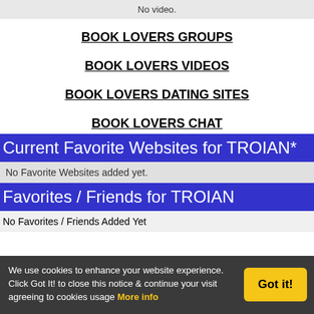No video.
BOOK LOVERS GROUPS
BOOK LOVERS VIDEOS
BOOK LOVERS DATING SITES
BOOK LOVERS CHAT
Current Favorite Websites for TROIAN*
No Favorite Websites added yet.
Favorites / Friends for TROIAN
No Favorites / Friends Added Yet
We use cookies to enhance your website experience. Click Got It! to close this notice & continue your visit agreeing to cookies usage More info